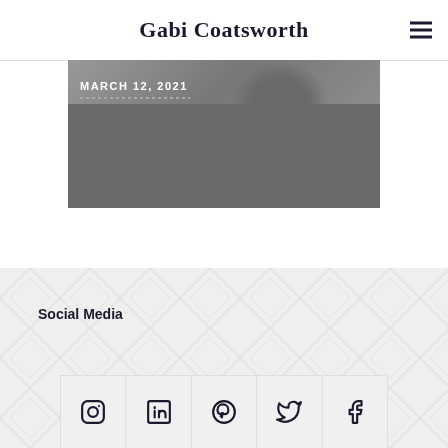Gabi Coatsworth
[Figure (photo): Black and white photo of a man in a suit, with date overlay reading MARCH 12, 2021 and dotted line decoration]
MARCH 12, 2021
Social Media
[Figure (infographic): Row of 5 social media icons: Instagram, LinkedIn, Pinterest, Twitter, Facebook]